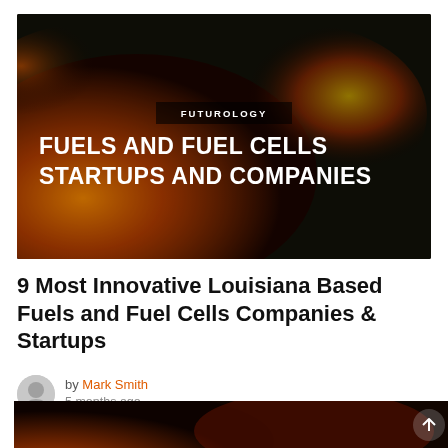[Figure (photo): Dark dramatic aerial/fire photograph used as hero banner background for Futurology article about Fuels and Fuel Cells startups]
9 Most Innovative Louisiana Based Fuels and Fuel Cells Companies & Startups
by Mark Smith
5 months ago
[Figure (photo): Bottom partial fire/dark image, same style as hero, partially visible at bottom of page]